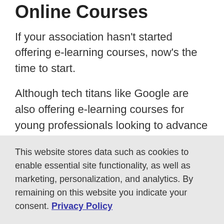Online Courses
If your association hasn't started offering e-learning courses, now's the time to start.
Although tech titans like Google are also offering e-learning courses for young professionals looking to advance their careers, associations can't throw in the towel. They need to compete to attract and engage young professionals by offering both affordable in-person developmental programs as well as
This website stores data such as cookies to enable essential site functionality, as well as marketing, personalization, and analytics. By remaining on this website you indicate your consent. Privacy Policy